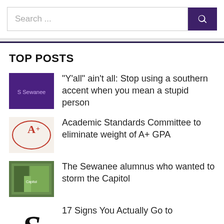Search ...
TOP POSTS
“Y’all” ain’t all: Stop using a southern accent when you mean a stupid person
Academic Standards Committee to eliminate weight of A+ GPA
The Sewanee alumnus who wanted to storm the Capitol
17 Signs You Actually Go to